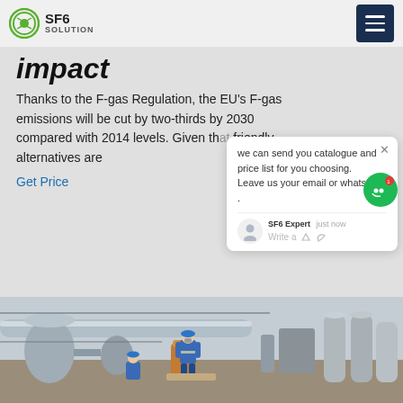SF6 SOLUTION
impact
Thanks to the F-gas Regulation, the EU's F-gas emissions will be cut by two-thirds by 2030 compared with 2014 levels. Given that friendly alternatives are
Get Price
we can send you catalogue and price list for you choosing.
Leave us your email or whatsapp .
SF6 Expert   just now
Write a
[Figure (photo): Industrial workers in blue overalls and hard hats at an outdoor substation or industrial facility with large tanks, pipes, and grey gas cylinders]